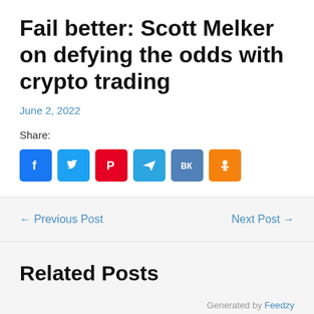Fail better: Scott Melker on defying the odds with crypto trading
June 2, 2022
Share:
[Figure (infographic): Social share buttons: Facebook, Twitter, Pinterest, Telegram, VK, Odnoklassniki]
← Previous Post
Next Post →
Related Posts
Generated by Feedzy